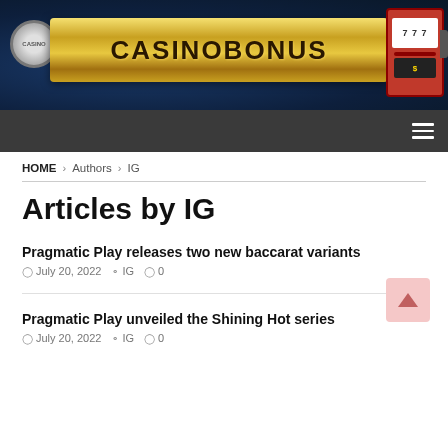[Figure (logo): CasinoBonus website banner with dark blue casino-themed background, gold banner with CASINOBONUS text, casino chip on left, slot machine on right]
Navigation bar with hamburger menu icon
HOME > Authors > IG
Articles by IG
Pragmatic Play releases two new baccarat variants
July 20, 2022  IG  0
Pragmatic Play unveiled the Shining Hot series
July 20, 2022  IG  0